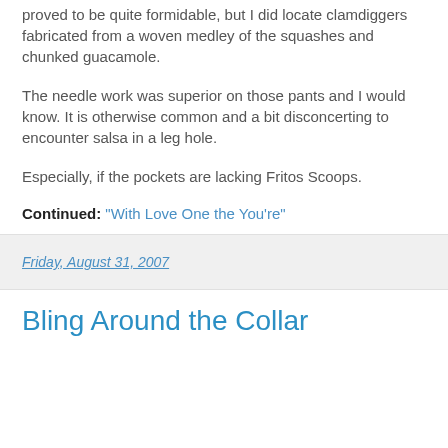proved to be quite formidable, but I did locate clamdiggers fabricated from a woven medley of the squashes and chunked guacamole.
The needle work was superior on those pants and I would know. It is otherwise common and a bit disconcerting to encounter salsa in a leg hole.
Especially, if the pockets are lacking Fritos Scoops.
Continued: "With Love One the You're"
Friday, August 31, 2007
Bling Around the Collar